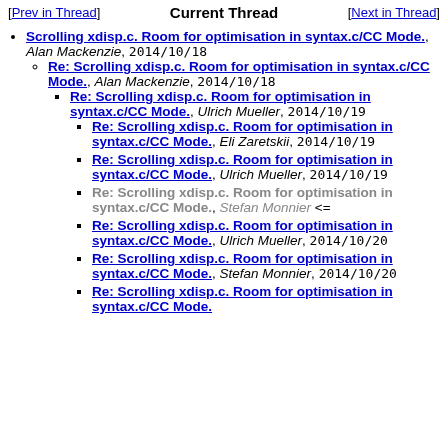[Prev in Thread]   Current Thread   [Next in Thread]
Scrolling xdisp.c. Room for optimisation in syntax.c/CC Mode., Alan Mackenzie, 2014/10/18
Re: Scrolling xdisp.c. Room for optimisation in syntax.c/CC Mode., Alan Mackenzie, 2014/10/18
Re: Scrolling xdisp.c. Room for optimisation in syntax.c/CC Mode., Ulrich Mueller, 2014/10/19
Re: Scrolling xdisp.c. Room for optimisation in syntax.c/CC Mode., Eli Zaretskii, 2014/10/19
Re: Scrolling xdisp.c. Room for optimisation in syntax.c/CC Mode., Ulrich Mueller, 2014/10/19
Re: Scrolling xdisp.c. Room for optimisation in syntax.c/CC Mode., Stefan Monnier <=
Re: Scrolling xdisp.c. Room for optimisation in syntax.c/CC Mode., Ulrich Mueller, 2014/10/20
Re: Scrolling xdisp.c. Room for optimisation in syntax.c/CC Mode., Stefan Monnier, 2014/10/20
Re: Scrolling xdisp.c. Room for optimisation in syntax.c/CC Mode.